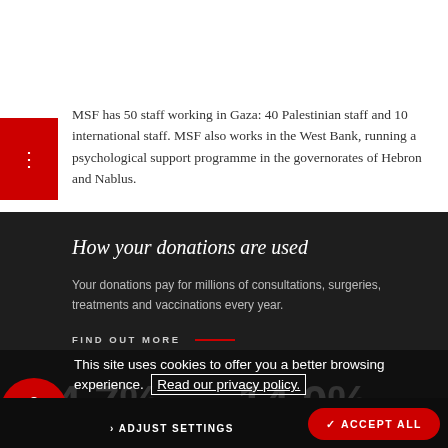MSF has 50 staff working in Gaza: 40 Palestinian staff and 10 international staff. MSF also works in the West Bank, running a psychological support programme in the governorates of Hebron and Nablus.
How your donations are used
Your donations pay for millions of consultations, surgeries, treatments and vaccinations every year.
FIND OUT MORE
This site uses cookies to offer you a better browsing experience. Read our privacy policy.
74.7%
14.0%
SOCIAL MIS...
ADJUST SETTINGS
ACCEPT ALL